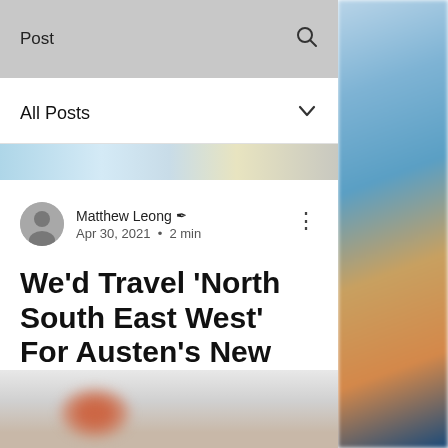Post
All Posts
[Figure (photo): Blurred banner image strip with sky blue and tan tones]
Matthew Leong ✍  Apr 30, 2021  •  2 min
We'd Travel 'North South East West' For Austen's New Single
Updated: May 4, 2021
[Figure (photo): Partial blurred photo at bottom of page with pinkish-brown tones]